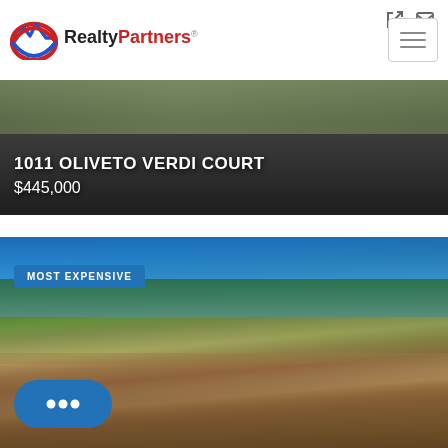[Figure (logo): Realty Partners logo with mountain/arch icon in red and blue, text 'RealtyPartners' with registered trademark symbol]
[Figure (photo): Hero banner showing a driveway/paved surface with grass border from aerial view, dark tones]
1011 OLIVETO VERDI COURT
$445,000
[Figure (photo): Exterior photo of a mid-century modern house with wood siding, large windows, surrounded by oak trees under blue sky. Badge reads MOST EXPENSIVE.]
MOST EXPENSIVE